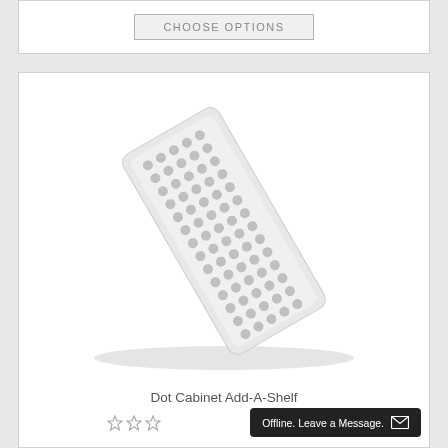[Figure (other): Choose Options button partial card at top of page]
[Figure (photo): White rectangular tray with polka dot pattern (Dot Cabinet Add-A-Shelf product), shown at an angle on white background]
Dot Cabinet Add-A-Shelf
[Figure (other): Three star rating icons]
Offline. Leave a Message.